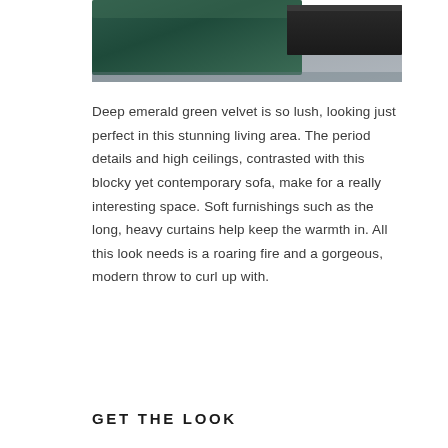[Figure (photo): Close-up photo of a deep emerald green velvet sofa with a dark blocky coffee table in the background, on a grey textured rug.]
Deep emerald green velvet is so lush, looking just perfect in this stunning living area. The period details and high ceilings, contrasted with this blocky yet contemporary sofa, make for a really interesting space. Soft furnishings such as the long, heavy curtains help keep the warmth in. All this look needs is a roaring fire and a gorgeous, modern throw to curl up with.
GET THE LOOK